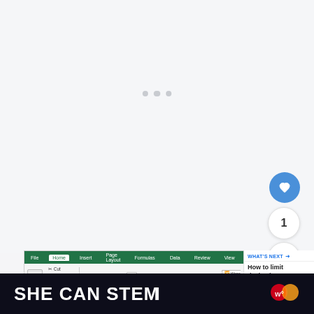[Figure (screenshot): White/light gray page background area with faint loading indicator dots in the center]
[Figure (screenshot): Microsoft Excel ribbon interface showing Home tab with Clipboard, Font, Alignment, and Number groups. A Format Cells dialog box is partially visible at the bottom.]
WHAT'S NEXT → How to limit decimal...
[Figure (infographic): SHE CAN STEM banner with dark background and white bold text, with Mastercard logo on the right]